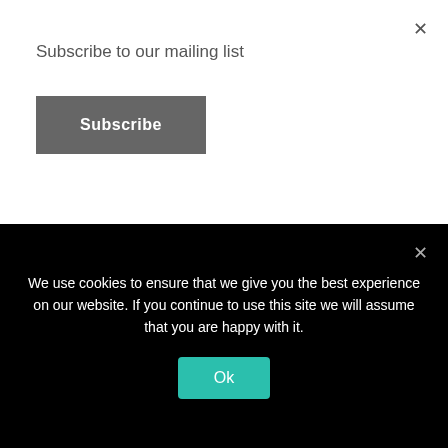Subscribe to our mailing list
Subscribe
LIKE US ON FACEBOOK
MAGAZINE
[Figure (screenshot): Magazine cover thumbnail with FREE badge]
We use cookies to ensure that we give you the best experience on our website. If you continue to use this site we will assume that you are happy with it.
Ok